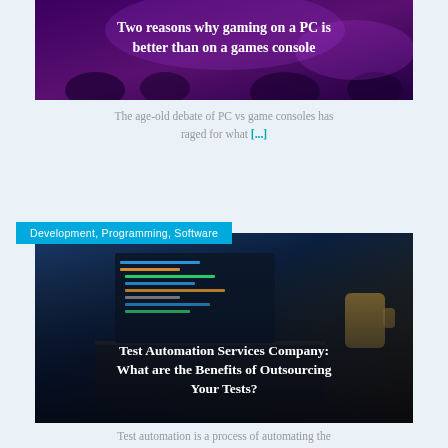[Figure (photo): Dark purple-toned gaming scene with crowd and game controller graphic, with white bold title text overlay: 'Two reasons why gaming on a PC is better than on a games console']
The age-old debate of PC vs game consoles has raged for what [...]
Development, Programming, Software
[Figure (photo): Laptop with code on screen in a dark development setting, with white bold title text overlay: 'Test Automation Services Company: What are the Benefits of Outsourcing Your Tests?']
Test automation is a process of automating the execution of tests, a [...]